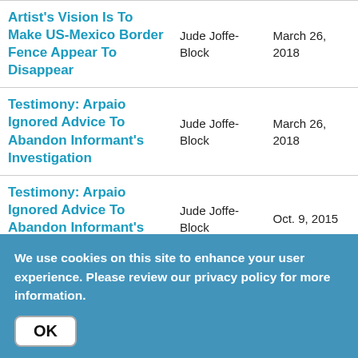| Title | Author | Date |
| --- | --- | --- |
| Artist's Vision Is To Make US-Mexico Border Fence Appear To Disappear | Jude Joffe-Block | March 26, 2018 |
| Testimony: Arpaio Ignored Advice To Abandon Informant's Investigation | Jude Joffe-Block | March 26, 2018 |
| Testimony: Arpaio Ignored Advice To Abandon Informant's Investigation | Jude Joffe-Block | Oct. 9, 2015 |
| Giant Art Piece Going Up On US-Mexico Border | Jude Joffe-Block | Oct. 9, 2015 |
We use cookies on this site to enhance your user experience. Please review our privacy policy for more information.